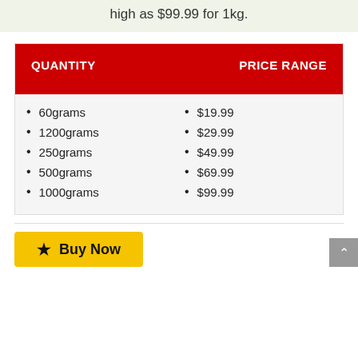high as $99.99 for 1kg.
| QUANTITY | PRICE RANGE |
| --- | --- |
| 60grams | $19.99 |
| 1200grams | $29.99 |
| 250grams | $49.99 |
| 500grams | $69.99 |
| 1000grams | $99.99 |
★ Buy Now